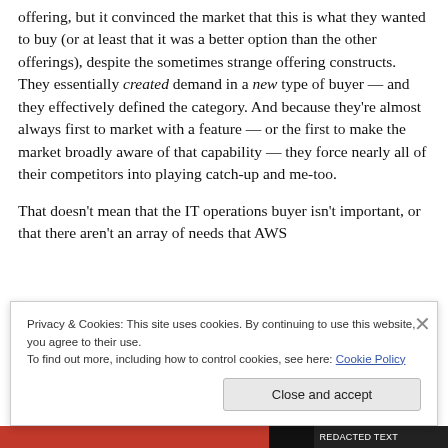offering, but it convinced the market that this is what they wanted to buy (or at least that it was a better option than the other offerings), despite the sometimes strange offering constructs. They essentially created demand in a new type of buyer — and they effectively defined the category. And because they're almost always first to market with a feature — or the first to make the market broadly aware of that capability — they force nearly all of their competitors into playing catch-up and me-too.
That doesn't mean that the IT operations buyer isn't important, or that there aren't an array of needs that AWS
Privacy & Cookies: This site uses cookies. By continuing to use this website, you agree to their use.
To find out more, including how to control cookies, see here: Cookie Policy